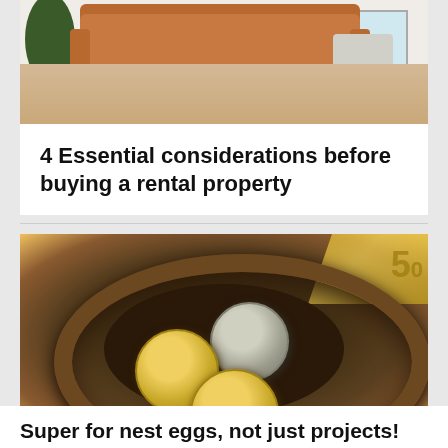[Figure (photo): Interior photo of a modern living room with a tan leather sofa, wooden floor, potted plant, and round side table]
4 Essential considerations before buying a rental property
[Figure (photo): Bird's eye view of Australian coins (10c and other denominations) sitting in a woven twig nest, with Australian $50 banknote visible in the background]
Super for nest eggs, not just projects!